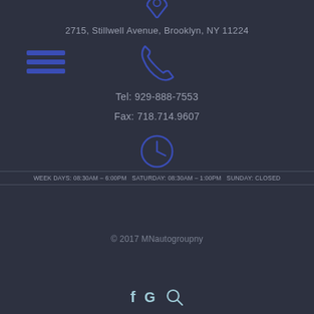[Figure (illustration): Blue location pin / map marker icon pointing downward, partially cut off at top]
2715, Stillwell Avenue, Brooklyn, NY 11224
[Figure (illustration): Blue hamburger menu icon (three horizontal lines) on the left side]
[Figure (illustration): Blue telephone/phone handset icon in the center]
Tel: 929-888-7553
Fax: 718.714.9607
[Figure (illustration): Blue clock icon showing time]
WEEK DAYS: 08:30AM – 6:00PM SATURDAY: 08:30AM – 1:00PM SUNDAY: CLOSED
© 2017 MNautogroupny
[Figure (illustration): Social media icons: Facebook (f), Google (G), and search/magnifier icon]